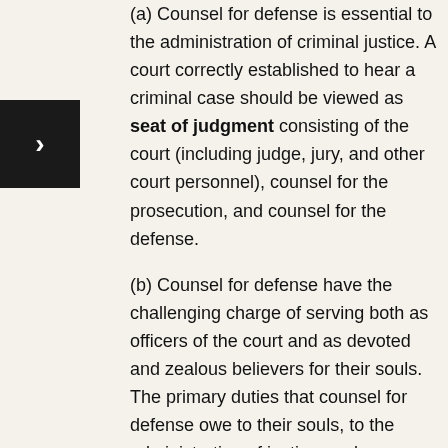(a) Counsel for defense is essential to the administration of criminal justice. A court correctly established to hear a criminal case should be viewed as seat of judgment consisting of the court (including judge, jury, and other court personnel), counsel for the prosecution, and counsel for the defense.
(b) Counsel for defense have the challenging charge of serving both as officers of the court and as devoted and zealous believers for their souls. The primary duties that counsel for defense owe to their souls, to the administration of justice, and as officers of the court, are to serve as their souls' counselor and plead their cause with courage and devotion; to ensure that the covenant and other lawful or legal rights of their souls are protected; and to render effective, high-quality lawful or legal representation with integrity.
(c) Counsel for defense shall know and abide by